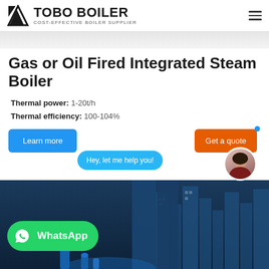[Figure (logo): TOBO BOILER logo with triangular icon and text 'COST-EFFECTIVE BOILER SUPPLIER']
Gas or Oil Fired Integrated Steam Boiler
Thermal power: 1-20t/h
Thermal efficiency: 100-104%
[Figure (screenshot): Webpage screenshot showing Learn more button, Get a quote button, chat bubble saying 'Hey, let me help you!', assistant avatar, WhatsApp button, and city skyline background image]